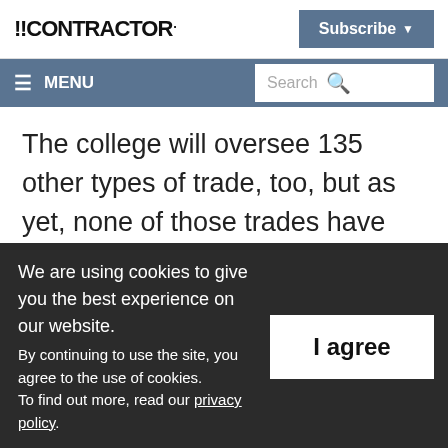CONTRACTOR
Subscribe
≡ MENU  Search
The college will oversee 135 other types of trade, too, but as yet, none of those trades have been targeted for the fees. But opponents of the College, such as the Coalition of Construction Employers, predict that the College will eventually force all of
We are using cookies to give you the best experience on our website.
By continuing to use the site, you agree to the use of cookies.
To find out more, read our privacy policy.
I agree